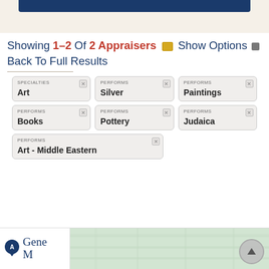Showing 1–2 Of 2 Appraisers  Show Options  Back To Full Results
SPECIALTIES Art
PERFORMS Silver
PERFORMS Paintings
PERFORMS Books
PERFORMS Pottery
PERFORMS Judaica
PERFORMS Art - Middle Eastern
[Figure (map): Map thumbnail showing green geographic region with location pin marker labeled A for Gene M appraiser listing]